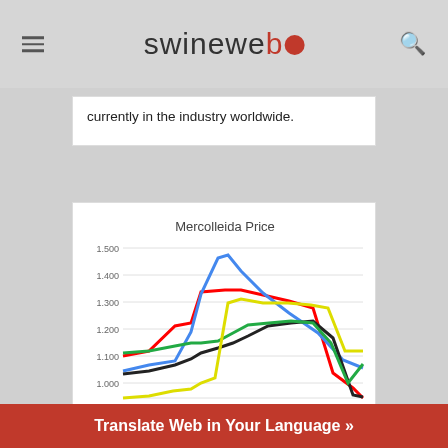swineweb
currently in the industry worldwide.
[Figure (line-chart): Multi-line chart titled 'Mercolleida Price' showing price data for multiple series (red, blue, black, green, yellow lines) ranging from approximately 1.000 to 1.500 on the y-axis.]
Translate Web in Your Language »